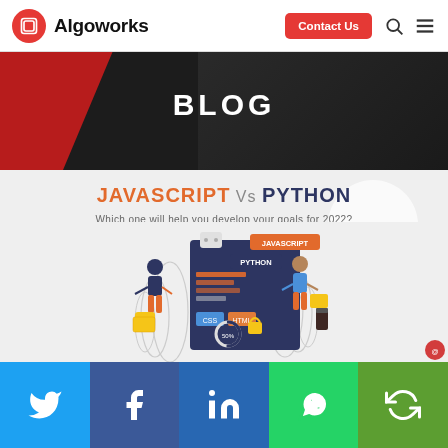Algoworks — Contact Us
BLOG
[Figure (infographic): JavaScript Vs Python infographic with the text 'Which one will help you develop your goals for 2022?' and an illustration showing two developers with programming language labels (JAVASCRIPT, PYTHON, CSS, HTML) and a 50% progress circle.]
Social links: Twitter, Facebook, LinkedIn, WhatsApp, Other